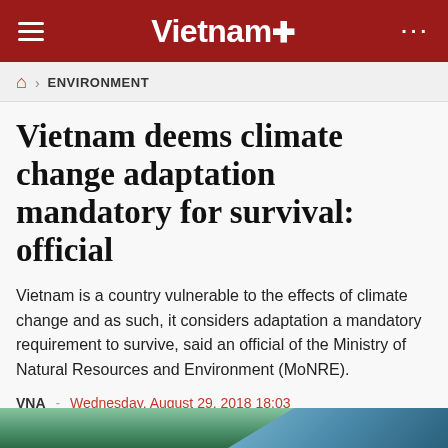Vietnam+
ENVIRONMENT
Vietnam deems climate change adaptation mandatory for survival: official
Vietnam is a country vulnerable to the effects of climate change and as such, it considers adaptation a mandatory requirement to survive, said an official of the Ministry of Natural Resources and Environment (MoNRE).
VNA - Wednesday, August 29, 2018 18:03
[Figure (other): Social media share buttons: Facebook, Zalo, Twitter, Google+, Print]